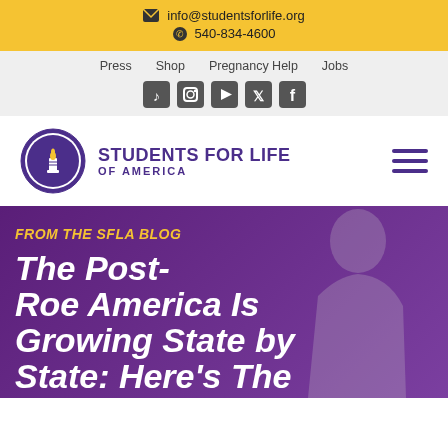info@studentsforlife.org  540-834-4600
Press  Shop  Pregnancy Help  Jobs
[Figure (logo): Students For Life of America logo — circular emblem with candle and book, purple text reading STUDENTS FOR LIFE OF AMERICA]
FROM THE SFLA BLOG
The Post-Roe America Is Growing State by State: Here's The
[Figure (photo): Hero background image with purple overlay showing silhouette of a person, with bold italic white headline text over a dark purple background]